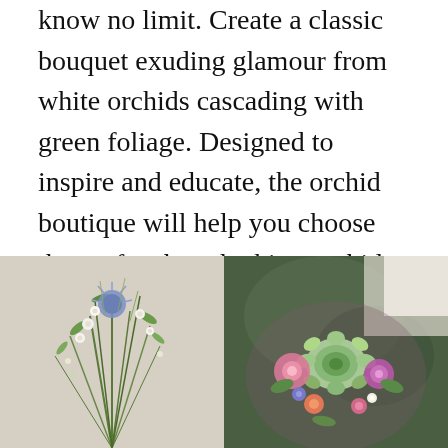know no limit. Create a classic bouquet exuding glamour from white orchids cascading with green foliage. Designed to inspire and educate, the orchid boutique will help you choose the perfect breathtaking orchid and teach you the basics on caring and reblooming tips. If possible i would try to get a fresh bouquet.
[Figure (photo): Two side-by-side photos of floral bouquets. Left: wildflower bouquet with blue thistles, white blooms, and greenery on a light background. Right: colorful succulent and flower bouquet held by a person in white, with pink and purple flowers.]